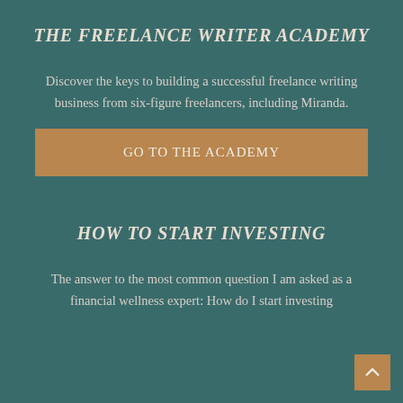THE FREELANCE WRITER ACADEMY
Discover the keys to building a successful freelance writing business from six-figure freelancers, including Miranda.
GO TO THE ACADEMY
HOW TO START INVESTING
The answer to the most common question I am asked as a financial wellness expert: How do I start investing